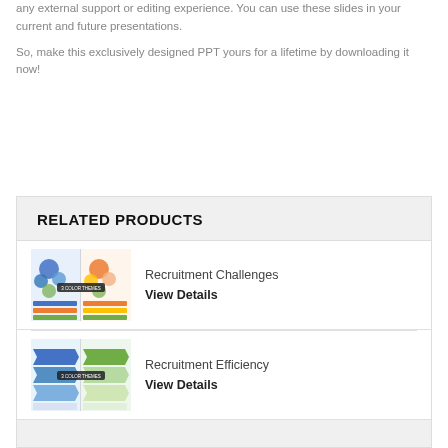any external support or editing experience. You can use these slides in your current and future presentations.
So, make this exclusively designed PPT yours for a lifetime by downloading it now!
RELATED PRODUCTS
[Figure (illustration): Thumbnail image of Recruitment Challenges PPT slide with circular diagrams and color-coded lists, labeled '3 COLOR THEMES']
Recruitment Challenges
View Details
[Figure (illustration): Thumbnail image of Recruitment Efficiency PPT slide with arrow/chevron diagrams and tables, labeled '3 COLOR THEMES']
Recruitment Efficiency
View Details